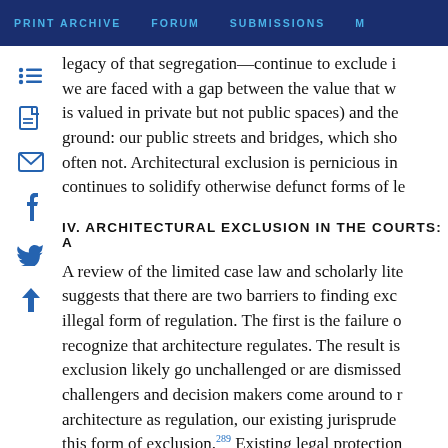PRINT ARCHIVE   FORUM   SUBMISSIONS   M
legacy of that segregation—continue to exclude i... we are faced with a gap between the value that w... is valued in private but not public spaces) and the... ground: our public streets and bridges, which sho... often not. Architectural exclusion is pernicious i... continues to solidify otherwise defunct forms of le...
IV. ARCHITECTURAL EXCLUSION IN THE COURTS: A
A review of the limited case law and scholarly lite... suggests that there are two barriers to finding exc... illegal form of regulation. The first is the failure o... recognize that architecture regulates. The result is... exclusion likely go unchallenged or are dismissed... challengers and decision makers come around to r... architecture as regulation, our existing jurisprude... this form of exclusion.289 Existing legal protection...